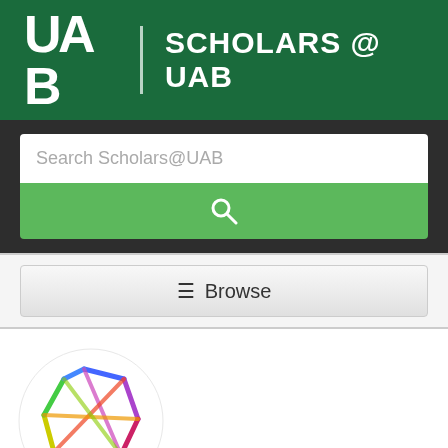UAB | SCHOLARS @ UAB
[Figure (screenshot): Search bar with placeholder text 'Search Scholars@UAB' and a green search button with magnifying glass icon]
[Figure (screenshot): Browse button with hamburger menu icon]
[Figure (logo): Colorful geometric polygon logo (Scholars@UAB) inside a white circle — rainbow-colored irregular pentagon outline]
Effect of air pollution on